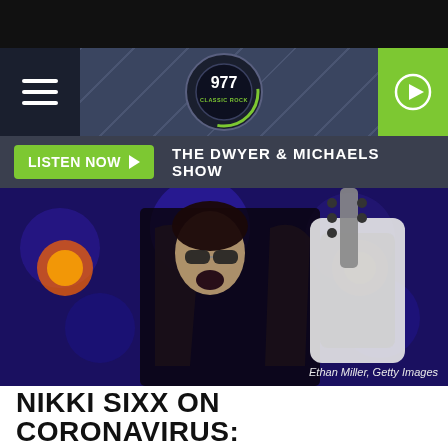[Figure (screenshot): Website header with hamburger menu, 977 Classic Rock radio station logo, and green play button on dark metallic background]
[Figure (infographic): Listen Now button bar with green button and text: THE DWYER & MICHAELS SHOW]
[Figure (photo): Nikki Sixx playing bass guitar wearing black leather jacket and sunglasses against blue background. Photo credit: Ethan Miller, Getty Images]
NIKKI SIXX ON CORONAVIRUS: